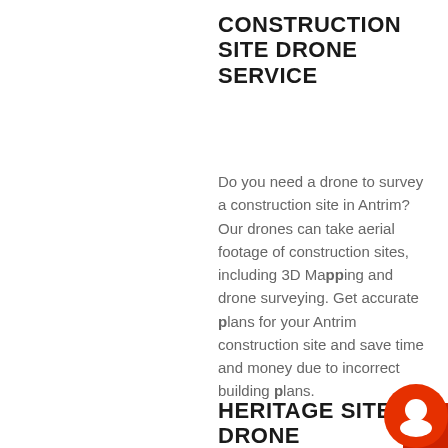CONSTRUCTION SITE DRONE SERVICE
Do you need a drone to survey a construction site in Antrim? Our drones can take aerial footage of construction sites, including 3D Mapping and drone surveying. Get accurate plans for your Antrim construction site and save time and money due to incorrect building plans.
HERITAGE SITE DRONE
[Figure (logo): Red circular chat/message icon with white speech bubble in center, positioned in bottom-right corner]